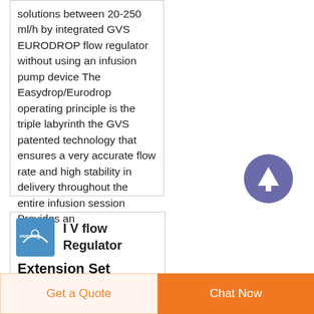solutions between 20-250 ml/h by integrated GVS EURODROP flow regulator without using an infusion pump device The Easydrop/Eurodrop operating principle is the triple labyrinth the GVS patented technology that ensures a very accurate flow rate and high stability in delivery throughout the entire infusion session Provides an
[Figure (other): Purple circular button with upward arrow icon]
[Figure (logo): Blue square logo with white text/graphic for a medical product company]
I V flow Regulator Extension Set Global